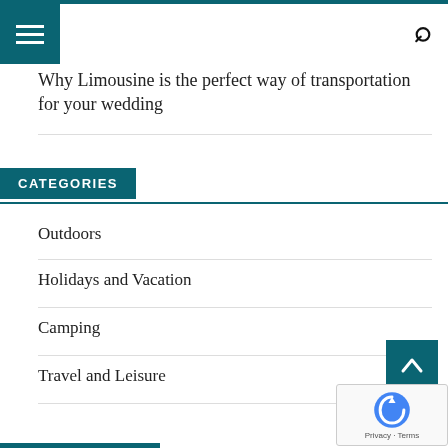Why Limousine is the perfect way of transportation for your wedding
CATEGORIES
Outdoors
Holidays and Vacation
Camping
Travel and Leisure